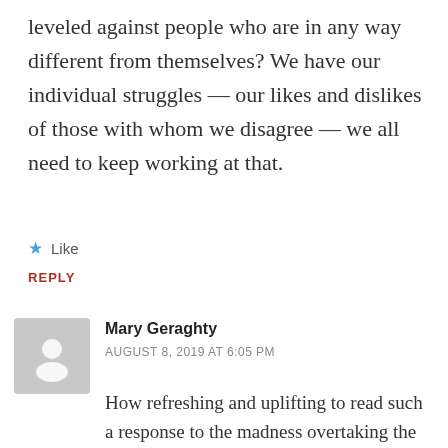leveled against people who are in any way different from themselves? We have our individual struggles — our likes and dislikes of those with whom we disagree — we all need to keep working at that.
★ Like
REPLY
Mary Geraghty
AUGUST 8, 2019 AT 6:05 PM
How refreshing and uplifting to read such a response to the madness overtaking the nation. Now, if only the local hierarchies and